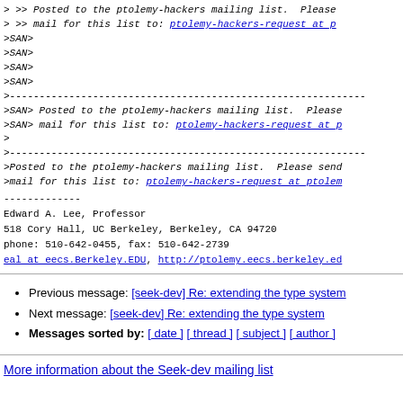> >> Posted to the ptolemy-hackers mailing list.  Please
> >> mail for this list to: ptolemy-hackers-request at p
>SAN>
>SAN>
>SAN>
>SAN>
>------------------------------------------------------------
>SAN> Posted to the ptolemy-hackers mailing list.  Please
>SAN> mail for this list to: ptolemy-hackers-request at p
>
>------------------------------------------------------------
>Posted to the ptolemy-hackers mailing list.  Please send
>mail for this list to: ptolemy-hackers-request at ptolemy
-------------
Edward A. Lee, Professor
518 Cory Hall, UC Berkeley, Berkeley, CA 94720
phone: 510-642-0455, fax: 510-642-2739
eal at eecs.Berkeley.EDU, http://ptolemy.eecs.berkeley.ed
Previous message: [seek-dev] Re: extending the type system
Next message: [seek-dev] Re: extending the type system
Messages sorted by: [ date ] [ thread ] [ subject ] [ author ]
More information about the Seek-dev mailing list